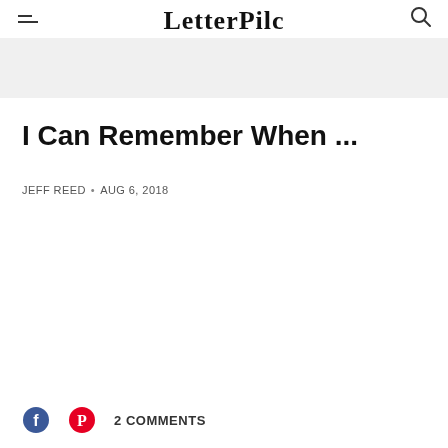LetterpIlc
I Can Remember When ...
JEFF REED • AUG 6, 2018
2 COMMENTS